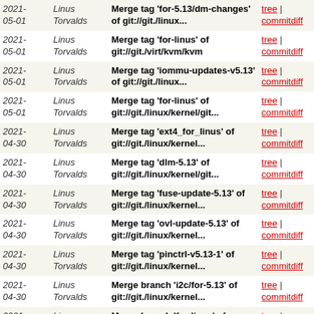| Date | Author | Message | Links |
| --- | --- | --- | --- |
| 2021-05-01 | Linus Torvalds | Merge tag 'for-5.13/dm-changes' of git://git./linux... | tree | commitdiff |
| 2021-05-01 | Linus Torvalds | Merge tag 'for-linus' of git://git./virt/kvm/kvm | tree | commitdiff |
| 2021-05-01 | Linus Torvalds | Merge tag 'iommu-updates-v5.13' of git://git./linux... | tree | commitdiff |
| 2021-05-01 | Linus Torvalds | Merge tag 'for-linus' of git://git./linux/kernel/git... | tree | commitdiff |
| 2021-04-30 | Linus Torvalds | Merge tag 'ext4_for_linus' of git://git./linux/kernel... | tree | commitdiff |
| 2021-04-30 | Linus Torvalds | Merge tag 'dlm-5.13' of git://git./linux/kernel/git... | tree | commitdiff |
| 2021-04-30 | Linus Torvalds | Merge tag 'fuse-update-5.13' of git://git./linux/kernel... | tree | commitdiff |
| 2021-04-30 | Linus Torvalds | Merge tag 'ovl-update-5.13' of git://git./linux/kernel... | tree | commitdiff |
| 2021-04-30 | Linus Torvalds | Merge tag 'pinctrl-v5.13-1' of git://git./linux/kernel... | tree | commitdiff |
| 2021-04-30 | Linus Torvalds | Merge branch 'i2c/for-5.13' of git://git./linux/kernel... | tree | commitdiff |
| 2021-04-30 | Linus Torvalds | Merge branch 'for-linus' of git://git./linux/kernel... | tree | commitdiff |
| 2021-04-30 | Linus Torvalds | Merge tag 'sound-5.13-rc1' of git://git./linux/kernel... | tree | commitdiff |
| 2021-04-30 | Linus Torvalds | Merge tag 'drm-next-2021-04-30' of git://anongit.freede... | tree | commitdiff |
| 2021-04-30 | Linus Torvalds | Merge tag 'modules-for-v5.13' of git://git./linux/kernel... | tree | commitdiff |